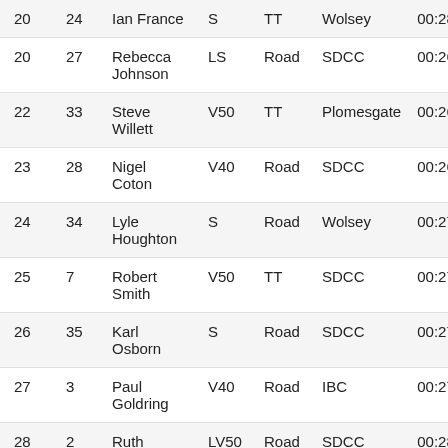| Pos | No | Name | Cat | Bike | Club | Time |  |
| --- | --- | --- | --- | --- | --- | --- | --- |
| 20 | 24 | Ian France | S | TT | Wolsey | 00:28:17 | 4… |
| 20 | 27 | Rebecca Johnson | LS | Road | SDCC | 00:26:17 | 4… |
| 22 | 33 | Steve Willett | V50 | TT | Plomesgate | 00:26:25 |  |
| 23 | 28 | Nigel Coton | V40 | Road | SDCC | 00:26:35 | 4… |
| 24 | 34 | Lyle Houghton | S | Road | Wolsey | 00:27:23 | 40 |
| 25 | 7 | Robert Smith | V50 | TT | SDCC | 00:27:30 | 39 |
| 26 | 35 | Karl Osborn | S | Road | SDCC | 00:27:36 | 38 |
| 27 | 3 | Paul Goldring | V40 | Road | IBC | 00:27:59 | 37 |
| 28 | 2 | Ruth Hamilton | LV50 | Road | SDCC | 00:28:07 | 36 |
| 29 | 8 | Adrian | V50 | Road | Wolsey | 00:28:14 | 3… |